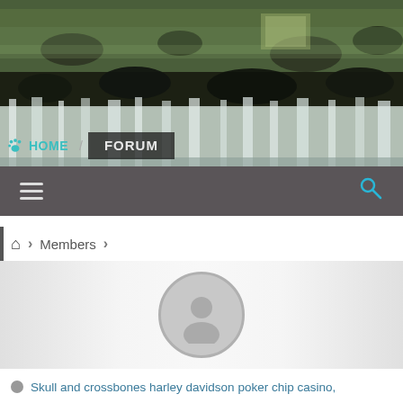[Figure (photo): Waterfall landscape header image with rocks and green foliage reflected in still water above a wide cascading waterfall]
🐾 HOME / FORUM
≡  🔍
🏠 > Members >
[Figure (illustration): Default user avatar silhouette circle in grey on a gradient grey background]
Skull and crossbones harley davidson poker chip casino,